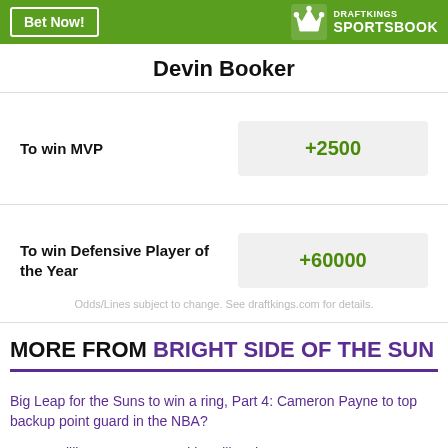[Figure (logo): DraftKings Sportsbook green banner with 'Bet Now!' button and DraftKings Sportsbook logo]
Devin Booker
To win MVP +2500
To win Defensive Player of the Year +60000
Odds/Lines subject to change. See draftkings.com for details.
MORE FROM BRIGHT SIDE OF THE SUN
Big Leap for the Suns to win a ring, Part 4: Cameron Payne to top backup point guard in the NBA?
Monte Williams on Ayton and handling the KD...